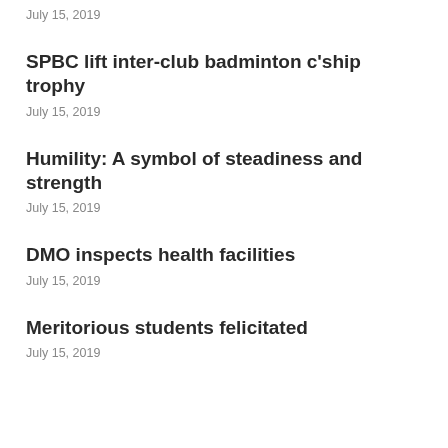July 15, 2019
SPBC lift inter-club badminton c'ship trophy
July 15, 2019
Humility: A symbol of steadiness and strength
July 15, 2019
DMO inspects health facilities
July 15, 2019
Meritorious students felicitated
July 15, 2019